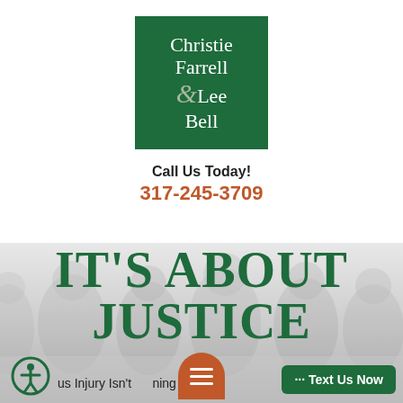[Figure (logo): Christie Farrell Lee & Bell law firm logo — dark green square with white serif text reading 'Christie Farrell & Lee Bell' with a stylized ampersand]
Call Us Today!
317-245-3709
IT'S ABOUT JUSTICE
[Figure (photo): Faded grayscale group photo of law firm members in professional attire as background]
us Injury Isn't   ning V...
··· Text Us Now